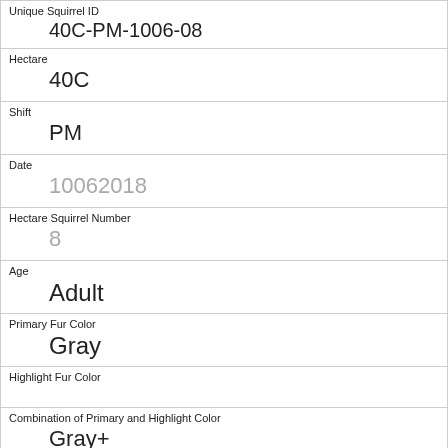| Unique Squirrel ID | 40C-PM-1006-08 |
| Hectare | 40C |
| Shift | PM |
| Date | 10062018 |
| Hectare Squirrel Number | 8 |
| Age | Adult |
| Primary Fur Color | Gray |
| Highlight Fur Color |  |
| Combination of Primary and Highlight Color | Gray+ |
| Color notes |  |
| Location |  |